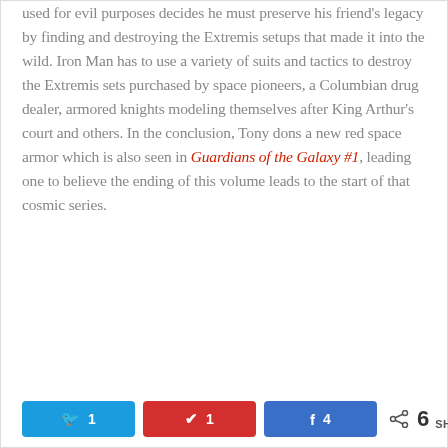used for evil purposes decides he must preserve his friend's legacy by finding and destroying the Extremis setups that made it into the wild. Iron Man has to use a variety of suits and tactics to destroy the Extremis sets purchased by space pioneers, a Columbian drug dealer, armored knights modeling themselves after King Arthur's court and others. In the conclusion, Tony dons a new red space armor which is also seen in Guardians of the Galaxy #1, leading one to believe the ending of this volume leads to the start of that cosmic series.
Twitter: 1 | Pinterest: 1 | Facebook: 4 | 6 SHARES